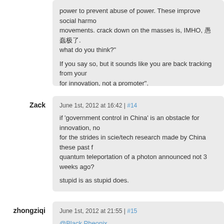power to prevent abuse of power. These improve social harmony movements. crack down on the masses is, IMHO, 愚蠢极了. what do you think?
If you say so, but it sounds like you are back tracking from your for innovation, not a promoter".
Zack
June 1st, 2012 at 16:42 | #14
if 'government control in China' is an obstacle for innovation, no for the strides in scie/tech research made by China these past f quantum teleportation of a photon announced not 3 weeks ago?
stupid is as stupid does.
zhongziqi
June 1st, 2012 at 21:55 | #15
@Black Pheonix
I don't think I backtracked. but I think my point can use some cla original point is that government control is not good, but without which is worse. you offered your point as a defense for the gove
I agree with you about the consequences of the chaos but I disa regulation that is so abhorred by the republicans are the same a control (or micro manage) so many aspects of the society, econo
I also disagreed with you that lack of government control are ge